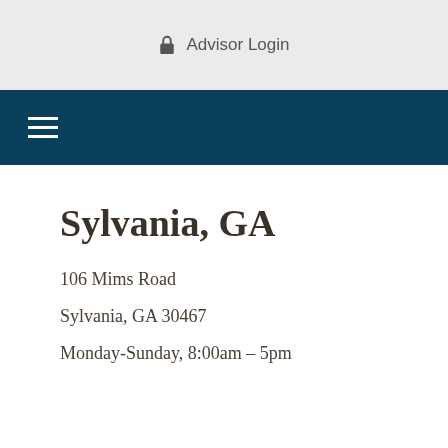🔒 Advisor Login
[Figure (screenshot): Navigation bar with hamburger menu icon on dark blue background]
Sylvania, GA
106 Mims Road
Sylvania, GA 30467
Monday-Sunday, 8:00am – 5pm